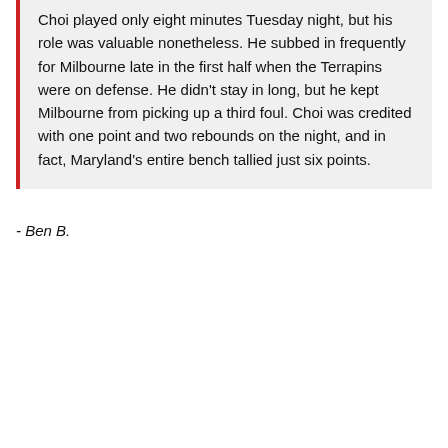Choi played only eight minutes Tuesday night, but his role was valuable nonetheless. He subbed in frequently for Milbourne late in the first half when the Terrapins were on defense. He didn't stay in long, but he kept Milbourne from picking up a third foul. Choi was credited with one point and two rebounds on the night, and in fact, Maryland's entire bench tallied just six points.
- Ben B.